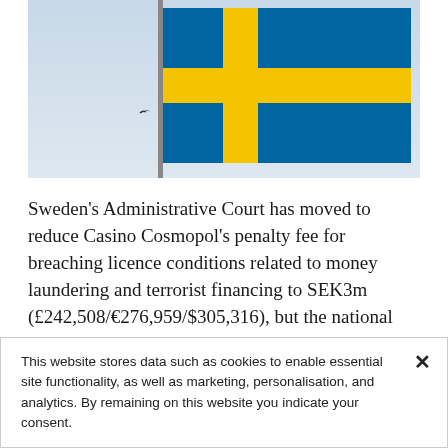[Figure (photo): Swedish flag flying on a flagpole against a light sky background, with a small bird visible near the pole.]
Sweden's Administrative Court has moved to reduce Casino Cosmopol's penalty fee for breaching licence conditions related to money laundering and terrorist financing to SEK3m (£242,508/€276,959/$305,316), but the national gambling regulator could appeal against the ruling.
This website stores data such as cookies to enable essential site functionality, as well as marketing, personalisation, and analytics. By remaining on this website you indicate your consent.